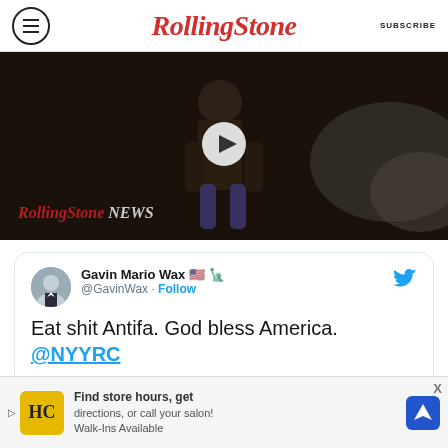RollingStone | SUBSCRIBE
[Figure (photo): Video thumbnail showing a performer on stage in dark lighting with smoke, with Rolling Stone News logo overlay and play button]
Gavin Mario Wax 🇺🇸 🗽
@GavinWax · Follow

Eat shit Antifa. God bless America.
@NYYRC
[Figure (screenshot): Two attached images in a tweet showing partial interior/exterior scenes]
Find store hours, get directions, or call your salon! Walk-Ins Available